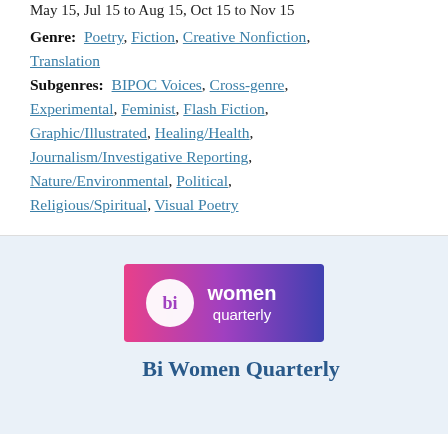May 15, Jul 15 to Aug 15, Oct 15 to Nov 15
Genre: Poetry, Fiction, Creative Nonfiction, Translation
Subgenres: BIPOC Voices, Cross-genre, Experimental, Feminist, Flash Fiction, Graphic/Illustrated, Healing/Health, Journalism/Investigative Reporting, Nature/Environmental, Political, Religious/Spiritual, Visual Poetry
[Figure (logo): Bi Women Quarterly logo — pink to purple gradient rectangle with white circular 'bi' icon and white text 'women quarterly']
Bi Women Quarterly